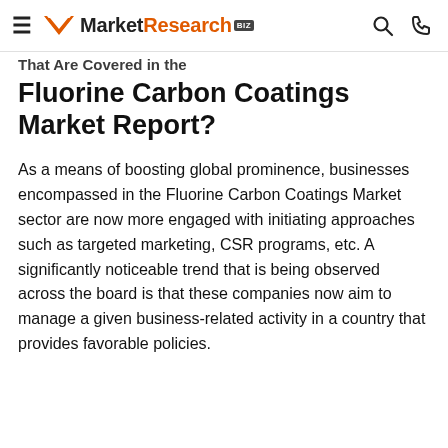MarketResearch.biz
Fluorine Carbon Coatings Market Report?
As a means of boosting global prominence, businesses encompassed in the Fluorine Carbon Coatings Market sector are now more engaged with initiating approaches such as targeted marketing, CSR programs, etc. A significantly noticeable trend that is being observed across the board is that these companies now aim to manage a given business-related activity in a country that provides favorable policies.